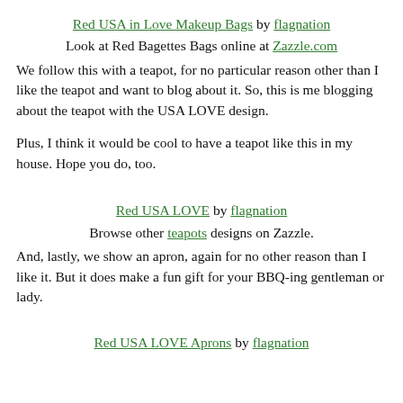Red USA in Love Makeup Bags by flagnation
Look at Red Bagettes Bags online at Zazzle.com
We follow this with a teapot, for no particular reason other than I like the teapot and want to blog about it. So, this is me blogging about the teapot with the USA LOVE design.
Plus, I think it would be cool to have a teapot like this in my house. Hope you do, too.
Red USA LOVE by flagnation
Browse other teapots designs on Zazzle.
And, lastly, we show an apron, again for no other reason than I like it. But it does make a fun gift for your BBQ-ing gentleman or lady.
Red USA LOVE Aprons by flagnation